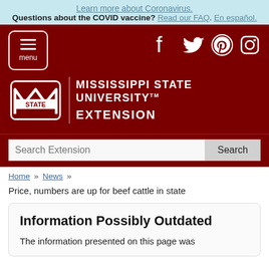Learn more about Coronavirus. Questions about the COVID vaccine? Read our FAQ. En español.
[Figure (screenshot): Mississippi State University Extension website header with maroon background, menu button, social media icons (Facebook, Twitter, Pinterest, Instagram), MSU State logo, and search bar]
Home » News » Price, numbers are up for beef cattle in state
Information Possibly Outdated
The information presented on this page was